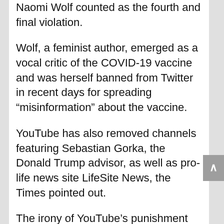Naomi Wolf counted as the fourth and final violation.
Wolf, a feminist author, emerged as a vocal critic of the COVID-19 vaccine and was herself banned from Twitter in recent days for spreading “misinformation” about the vaccine.
YouTube has also removed channels featuring Sebastian Gorka, the Donald Trump advisor, as well as pro-life news site LifeSite News, the Times pointed out.
The irony of YouTube’s punishment was